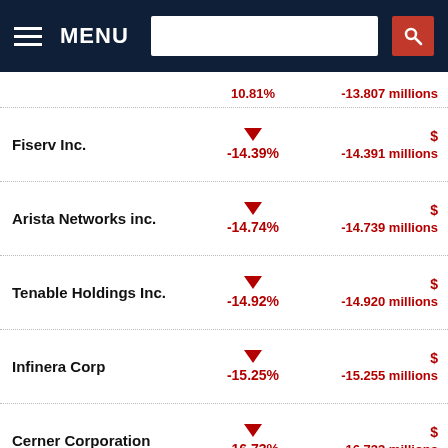MENU [navigation bar with search]
| Company | % Change | $ Change |
| --- | --- | --- |
|  | 10.81% | -13.807 millions |
| Fiserv Inc. | -14.39% | -14.391 millions |
| Arista Networks inc. | -14.74% | -14.739 millions |
| Tenable Holdings Inc. | -14.92% | -14.920 millions |
| Infinera Corp | -15.25% | -15.255 millions |
| Cerner Corporation | -16.73% | -16.733 millions |